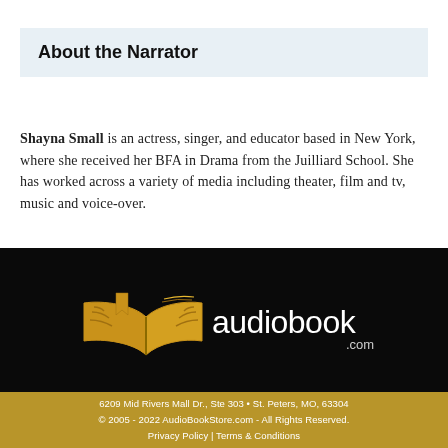About the Narrator
Shayna Small is an actress, singer, and educator based in New York, where she received her BFA in Drama from the Juilliard School. She has worked across a variety of media including theater, film and tv, music and voice-over.
[Figure (logo): AudioBookStore.com logo — gold open-book icon to the left, text 'audiobookstore' in white lowercase with '.com' in smaller text to the right, on a black background]
6209 Mid Rivers Mall Dr., Ste 303 • St. Peters, MO, 63304
© 2005 - 2022 AudioBookStore.com - All Rights Reserved.
Privacy Policy | Terms & Conditions